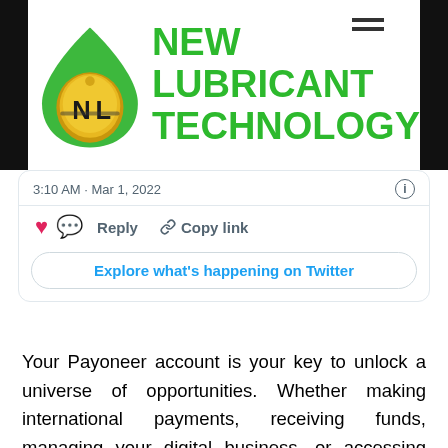[Figure (logo): New Lubricant Technology logo: green leaf/drop shape with gold NL emblem, beside bold green text 'NEW LUBRICANT TECHNOLOGY']
[Figure (screenshot): Twitter/X card showing timestamp '3:10 AM · Mar 1, 2022', heart icon, Reply button, Copy link button, and 'Explore what's happening on Twitter' button]
Your Payoneer account is your key to unlock a universe of opportunities. Whether making international payments, receiving funds, managing your digital business, or accessing capital, Payoneer opens your business up to the world. Even though transactions are anonymous by shielding the identity of a person with a public wallet address, they are still tracked on Bitcoin's public ledger. This means that Bitcoin has full transparency as every action taken on the protocol is recorded and can never be changed.